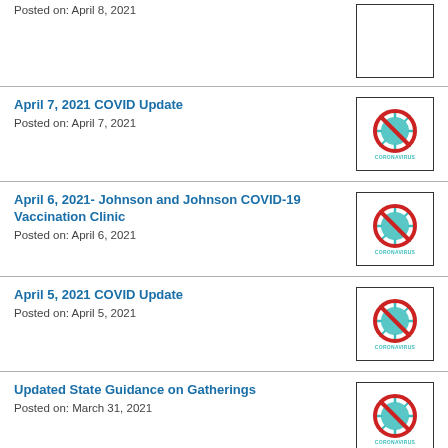Posted on: April 8, 2021
April 7, 2021 COVID Update
Posted on: April 7, 2021
April 6, 2021- Johnson and Johnson COVID-19 Vaccination Clinic
Posted on: April 6, 2021
April 5, 2021 COVID Update
Posted on: April 5, 2021
Updated State Guidance on Gatherings
Posted on: March 31, 2021
3.31.2021 – COVID Update
Posted on: March 31, 2021